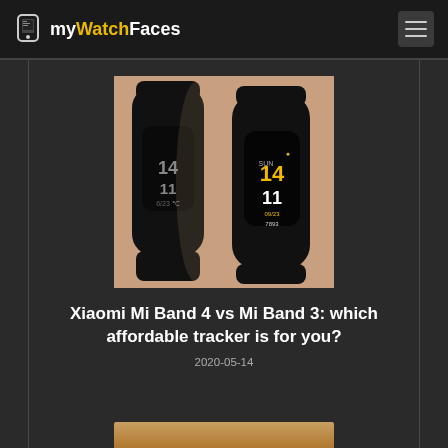myWatchFaces
[Figure (photo): Two Xiaomi Mi Band fitness trackers worn on a wrist side by side — Mi Band 3 on the left with monochrome display showing '14 11', and Mi Band 4 on the right with color AMOLED display showing '14 11' in yellow/white]
Xiaomi Mi Band 4 vs Mi Band 3: which affordable tracker is for you?
2020-05-14